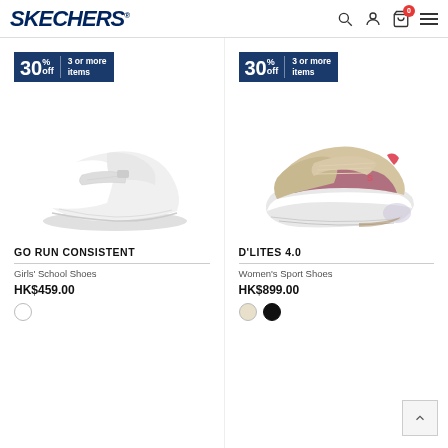SKECHERS
[Figure (photo): Promotion badge: 30% off 3 or more items (left product)]
[Figure (photo): White Skechers Go Run Consistent girls school shoe]
GO RUN CONSISTENT
Girls' School Shoes
HK$459.00
[Figure (photo): Promotion badge: 30% off 3 or more items (right product)]
[Figure (photo): Beige/pink Skechers D'Lites 4.0 women's sport shoe]
D'LITES 4.0
Women's Sport Shoes
HK$899.00